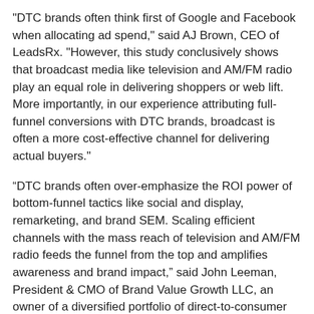"DTC brands often think first of Google and Facebook when allocating ad spend," said AJ Brown, CEO of LeadsRx. "However, this study conclusively shows that broadcast media like television and AM/FM radio play an equal role in delivering shoppers or web lift. More importantly, in our experience attributing full-funnel conversions with DTC brands, broadcast is often a more cost-effective channel for delivering actual buyers."
“DTC brands often over-emphasize the ROI power of bottom-funnel tactics like social and display, remarketing, and brand SEM. Scaling efficient channels with the mass reach of television and AM/FM radio feeds the funnel from the top and amplifies awareness and brand impact,” said John Leeman, President & CMO of Brand Value Growth LLC, an owner of a diversified portfolio of direct-to-consumer brands.
Additional learnings from the LeadsRx attribution study include:
Across the week, Google/Facebook campaigns